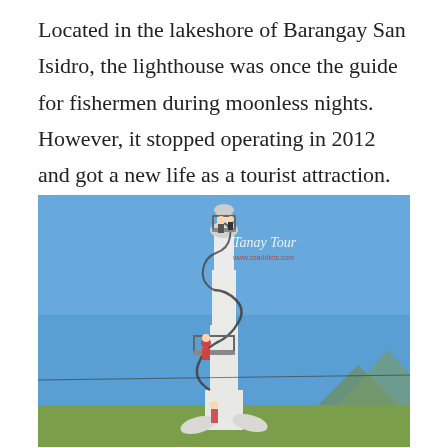Located in the lakeshore of Barangay San Isidro, the lighthouse was once the guide for fishermen during moonless nights. However, it stopped operating in 2012 and got a new life as a tourist attraction.
[Figure (photo): Photograph of a tall white lighthouse tower with a spiral metal staircase wrapping around it. People are visible on the observation platform at the top and on a mid-level landing. The tower is set against a clear blue sky with flat green land visible at the base. A watermark reading 'Tanay Tour' and a website URL are overlaid on the upper portion of the image.]